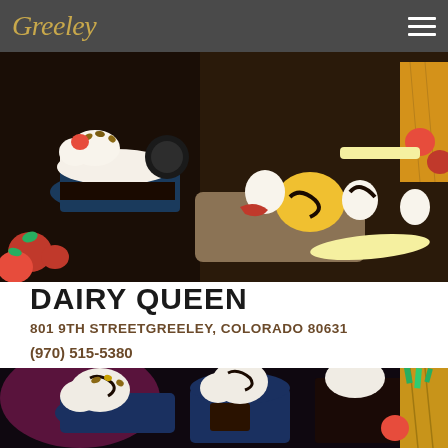Greeley
[Figure (photo): Ice cream sundaes and desserts in cups with whipped cream, chocolate syrup, strawberries and tropical fruits]
DAIRY QUEEN
801 9TH STREETGREELEY, COLORADO 80631
(970) 515-5380
[Figure (photo): Ice cream sundaes in cups with whipped cream, chocolate sauce, nuts, brownie pieces and pineapple]